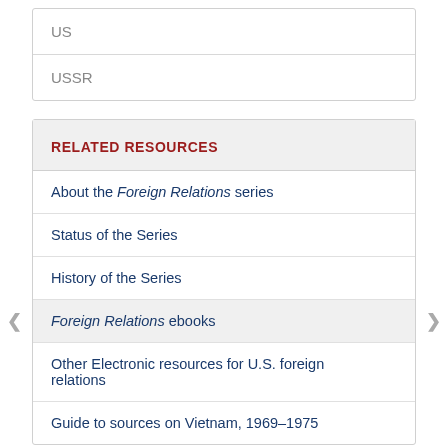| US |
| USSR |
RELATED RESOURCES
About the Foreign Relations series
Status of the Series
History of the Series
Foreign Relations ebooks
Other Electronic resources for U.S. foreign relations
Guide to sources on Vietnam, 1969–1975